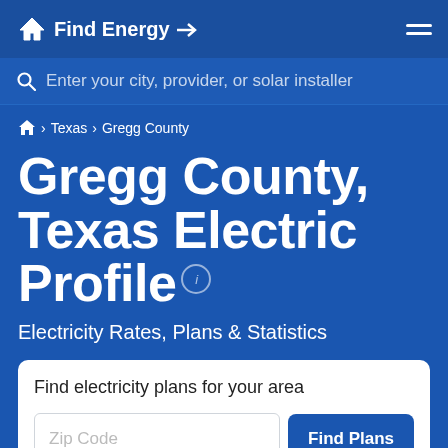Find Energy
Enter your city, provider, or solar installer
⌂ › Texas › Gregg County
Gregg County, Texas Electric Profile
Electricity Rates, Plans & Statistics
Find electricity plans for your area
Zip Code
Find Plans